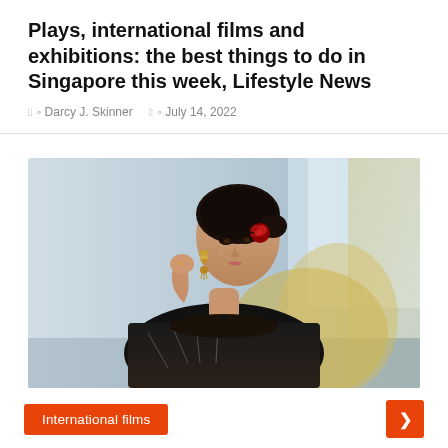Plays, international films and exhibitions: the best things to do in Singapore this week, Lifestyle News
Darcy J. Skinner   July 14, 2022
[Figure (photo): A woman in a black embroidered outfit with gold dupatta, wearing large jhumka earrings and a red rose in her hair, posing with one hand near her ear. Blurred indoor background with blue-grey tones.]
International films